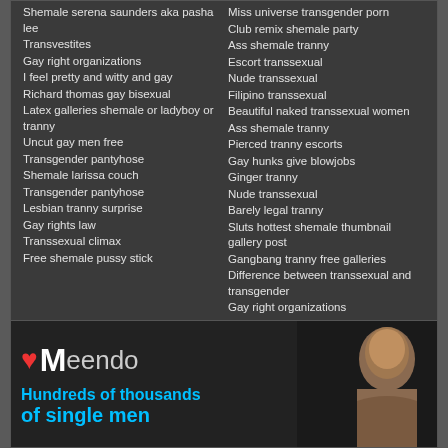Shemale serena saunders aka pasha lee
Transvestites
Gay right organizations
I feel pretty and witty and gay
Richard thomas gay bisexual
Latex galleries shemale or ladyboy or tranny
Uncut gay men free
Transgender pantyhose
Shemale larissa couch
Transgender pantyhose
Lesbian tranny surprise
Gay rights law
Transsexual climax
Free shemale pussy stick
Miss universe transgender porn
Club remix shemale party
Ass shemale tranny
Escort transsexual
Nude transsexual
Filipino transsexual
Beautiful naked transsexual women
Ass shemale tranny
Pierced tranny escorts
Gay hunks give blowjobs
Ginger tranny
Nude transsexual
Barely legal tranny
Sluts hottest shemale thumbnail gallery post
Gangbang tranny free galleries
Difference between transsexual and transgender
Gay right organizations
[Figure (advertisement): Meendo dating site advertisement with logo (red heart, M letter, 'eendo' text), text 'Hundreds of thousands of single men' in cyan, and a man's photo on the right side]